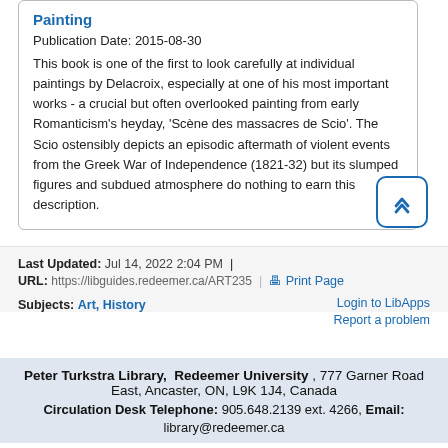Painting
Publication Date: 2015-08-30
This book is one of the first to look carefully at individual paintings by Delacroix, especially at one of his most important works - a crucial but often overlooked painting from early Romanticism's heyday, 'Scène des massacres de Scio'. The Scio ostensibly depicts an episodic aftermath of violent events from the Greek War of Independence (1821-32) but its slumped figures and subdued atmosphere do nothing to earn this description.
Last Updated: Jul 14, 2022 2:04 PM | URL: https://libguides.redeemer.ca/ART235 | Print Page | Login to LibApps | Report a problem | Subjects: Art, History
Peter Turkstra Library, Redeemer University , 777 Garner Road East, Ancaster, ON, L9K 1J4, Canada
Circulation Desk Telephone: 905.648.2139 ext. 4266, Email:
library@redeemer.ca